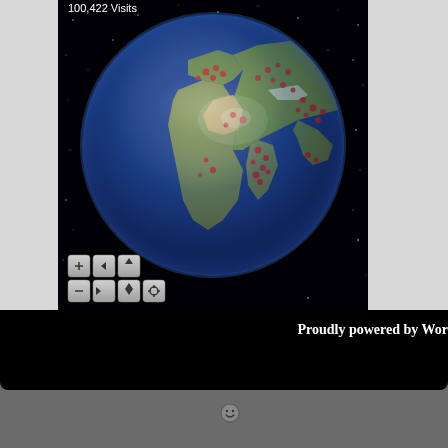100,422 Visits
[Figure (illustration): 3D rotating globe (revolvermaps widget) showing Earth with red dots indicating visitor locations, set against a starry black background. Navigation control buttons (zoom, pan) are visible in the lower-left of the globe area. The brand name 'revolvermaps' appears at the bottom.]
Proudly powered by Wor